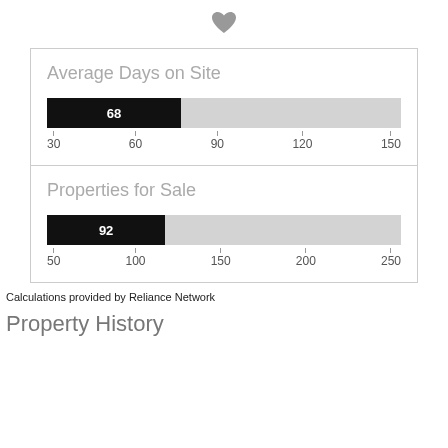[Figure (bar-chart): Average Days on Site]
[Figure (bar-chart): Properties for Sale]
Calculations provided by Reliance Network
Property History